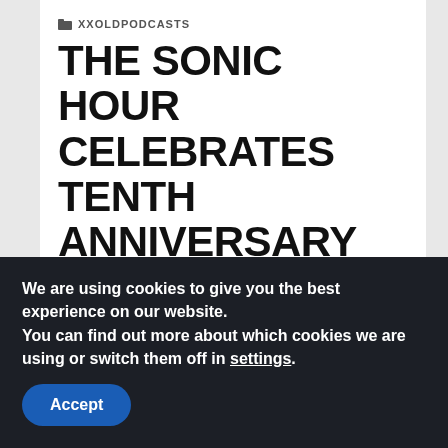XXOLDPODCASTS
THE SONIC HOUR CELEBRATES TENTH ANNIVERSARY WITH A CHRISTMAS SPECIAL
2ND JANUARY 2014   DREADKNUX   1 COMMENT
We are using cookies to give you the best experience on our website.
You can find out more about which cookies we are using or switch them off in settings.
Accept